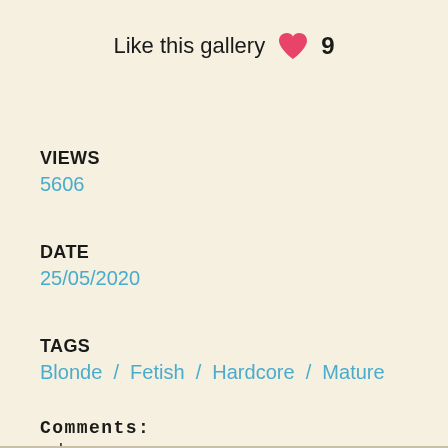Like this gallery ♥ 9
VIEWS
5606
DATE
25/05/2020
TAGS
Blonde / Fetish / Hardcore / Mature
Comments:
: ohe
Gabriel: Nice pic